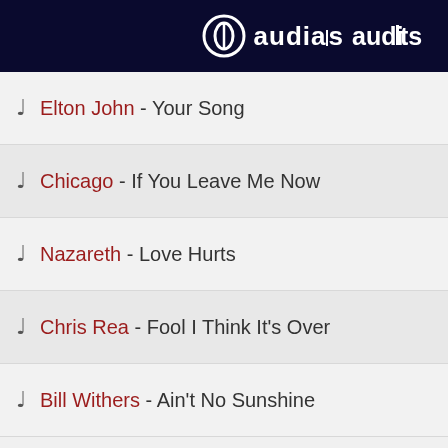audials
Elton John - Your Song
Chicago - If You Leave Me Now
Nazareth - Love Hurts
Chris Rea - Fool I Think It's Over
Bill Withers - Ain't No Sunshine
KuschelRock - Feelings of th...   by KOGA
Genres: 80s
37 total wishes
Elton John - Your Song
Chicago - If You Leave Me Now